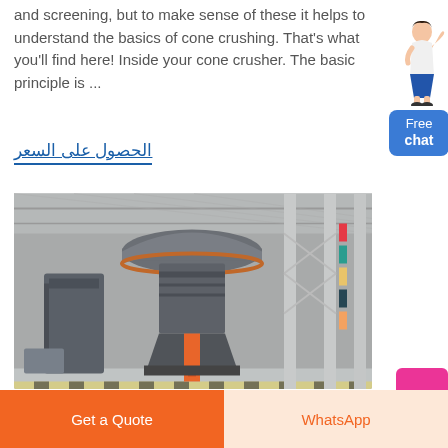and screening, but to make sense of these it helps to understand the basics of cone crushing. That's what you'll find here! Inside your cone crusher. The basic principle is ...
الحصول على السعر
[Figure (photo): Industrial cone crusher machine inside a large factory/warehouse facility, with tall grey cylindrical crusher body and orange accents, surrounded by scaffolding and structural columns.]
Free chat
Get a Quote
WhatsApp